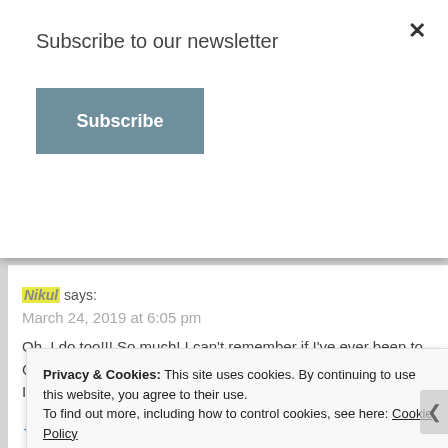Subscribe to our newsletter
Subscribe
Nikul says:
March 24, 2019 at 6:05 pm
Oh, I do too!!! So much! I can't remember if I've ever been to Carmel-by-the-Sea or not; if I have, I would have only been 7. I'll have to add it to my list!
★ Like
Reply
Privacy & Cookies: This site uses cookies. By continuing to use this website, you agree to their use.
To find out more, including how to control cookies, see here: Cookie Policy
Close and accept